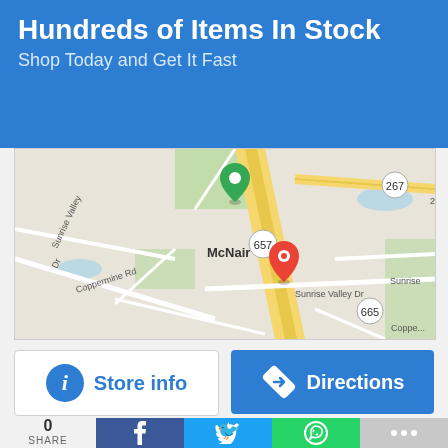Hundreds of Items In Stock
Shop Today and Get It Fast
[Figure (map): Google-style street map showing McNair area with route 657, 267, 665, roads including Coppermine Rd, Sunrise Valley Dr, with a green map pin and a red map pin marking locations]
Store info
Directions
0
SHARE